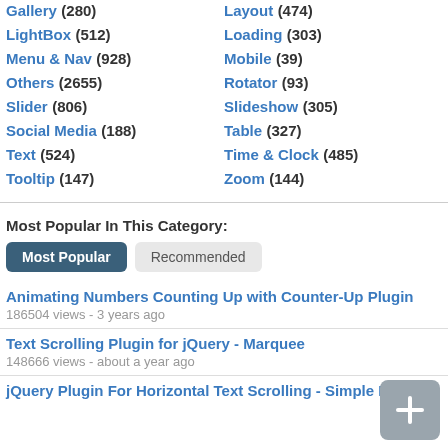Gallery (280)
Layout (474)
LightBox (512)
Loading (303)
Menu & Nav (928)
Mobile (39)
Others (2655)
Rotator (93)
Slider (806)
Slideshow (305)
Social Media (188)
Table (327)
Text (524)
Time & Clock (485)
Tooltip (147)
Zoom (144)
Most Popular In This Category:
Animating Numbers Counting Up with Counter-Up Plugin
186504 views - 3 years ago
Text Scrolling Plugin for jQuery - Marquee
148666 views - about a year ago
jQuery Plugin For Horizontal Text Scrolling - Simple Marquee